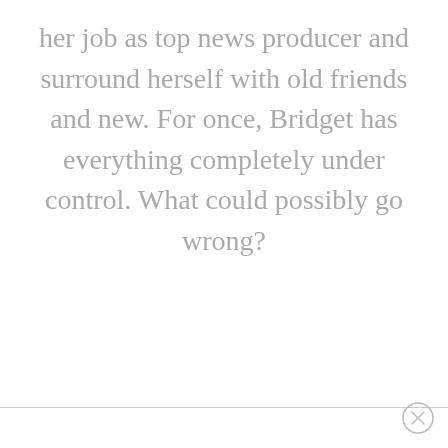her job as top news producer and surround herself with old friends and new. For once, Bridget has everything completely under control. What could possibly go wrong?